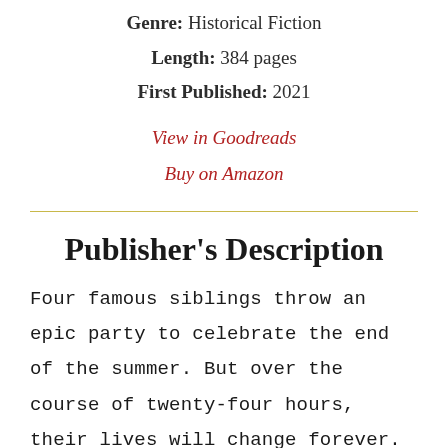Genre: Historical Fiction
Length: 384 pages
First Published: 2021
View in Goodreads
Buy on Amazon
Publisher's Description
Four famous siblings throw an epic party to celebrate the end of the summer. But over the course of twenty-four hours, their lives will change forever.